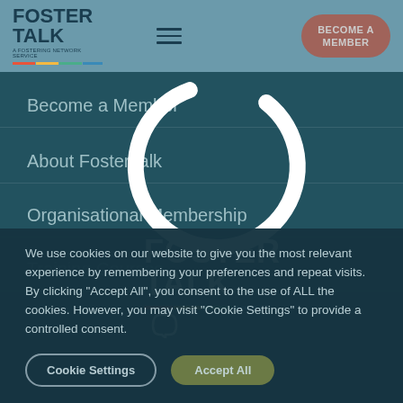[Figure (logo): FosterTalk logo with text FOSTER TALK and colored underline in the website header]
[Figure (illustration): Hamburger menu icon (three horizontal lines) in the header]
[Figure (other): BECOME A MEMBER button styled as rounded pill in dark red/brown color in the header]
Become a Member
About FosterTalk
Organisational Membership
Training Courses
[Figure (illustration): Large white circular loading spinner arc overlaying the main content area]
[Figure (logo): FosterTalk white logo with FOSTER TALK text and colorful underline with chat bubble arrow]
We use cookies on our website to give you the most relevant experience by remembering your preferences and repeat visits. By clicking "Accept All", you consent to the use of ALL the cookies. However, you may visit "Cookie Settings" to provide a controlled consent.
Cookie Settings
Accept All